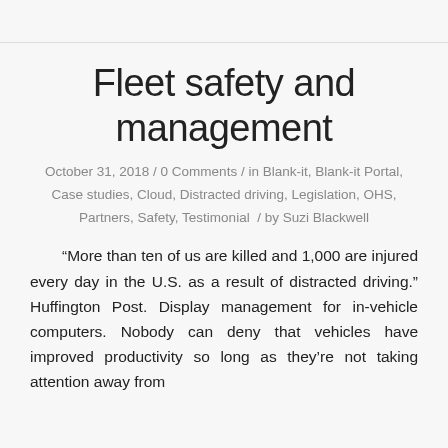Fleet safety and management
October 31, 2018 / 0 Comments / in Blank-it, Blank-it Portal, Case studies, Cloud, Distracted driving, Legislation, OHS, Partners, Safety, Testimonial / by Suzi Blackwell
“More than ten of us are killed and 1,000 are injured every day in the U.S. as a result of distracted driving.” Huffington Post. Display management for in-vehicle computers. Nobody can deny that vehicles have improved productivity so long as they’re not taking attention away from